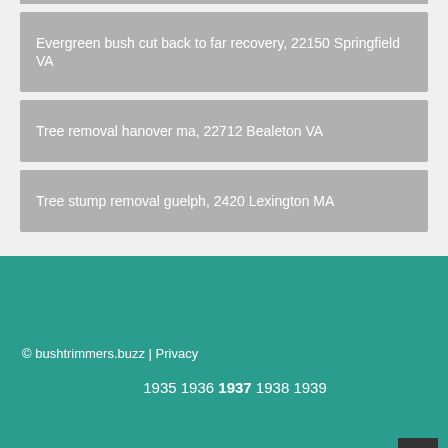Evergreen bush cut back to far recovery, 22150 Springfield VA
Tree removal hanover ma, 22712 Bealeton VA
Tree stump removal guelph, 2420 Lexington MA
© bushtrimmers.buzz | Privacy
1935 1936 1937 1938 1939